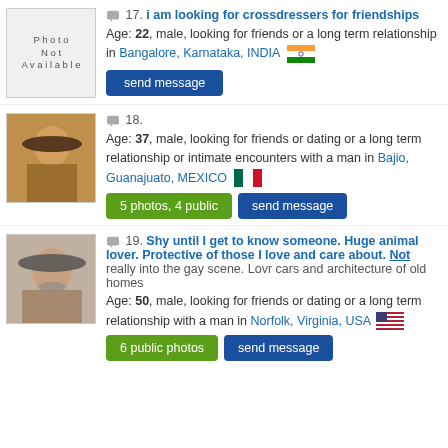17. i am looking for crossdressers for friendships
Age: 22, male, looking for friends or a long term relationship in Bangalore, Karnataka, INDIA
18.
Age: 37, male, looking for friends or dating or a long term relationship or intimate encounters with a man in Bajio, Guanajuato, MEXICO
19. Shy until I get to know someone. Huge animal lover. Protective of those I love and care about. Not really into the gay scene. Lovr cars and architecture of old homes
Age: 50, male, looking for friends or dating or a long term relationship with a man in Norfolk, Virginia, USA